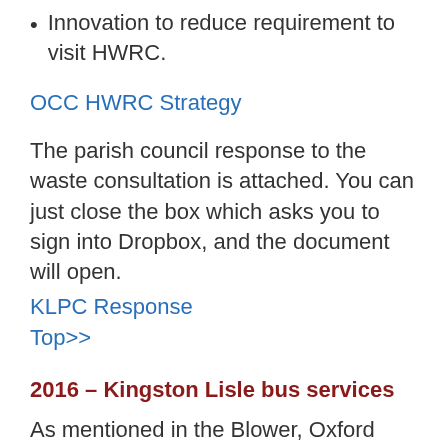Innovation to reduce requirement to visit HWRC.
OCC HWRC Strategy
The parish council response to the waste consultation is attached. You can just close the box which asks you to sign into Dropbox, and the document will open.
KLPC Response
Top>>
2016 – Kingston Lisle bus services
As mentioned in the Blower, Oxford County Council have reviewed the subsidies made to buses across the county and we have lost our 67 service. More information on the